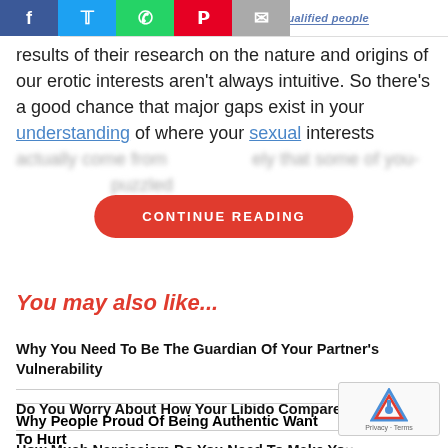Relationship advice from qualified people
results of their research on the nature and origins of our erotic interests aren't always intuitive. So there's a good chance that major gaps exist in your understanding of where your sexual interests actually come from... [CONTINUE READING button overlay] ...ely that some of your... ...be puzzled by.
You may also like...
Why You Need To Be The Guardian Of Your Partner's Vulnerability
Do You Worry About How Your Libido Compares?
How Much Narcissism Do You Need To Make You Feel Good?
Why People Proud Of Being Authentic Want To Hurt